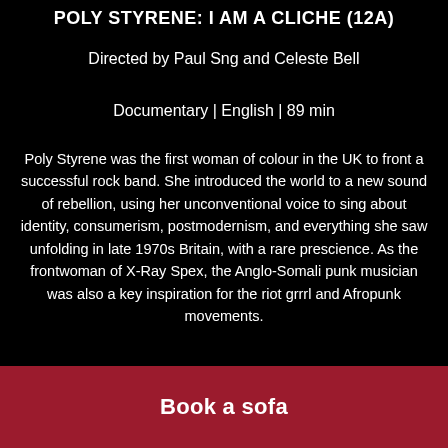POLY STYRENE: I AM A CLICHE (12A)
Directed by Paul Sng and Celeste Bell
Documentary | English | 89 min
Poly Styrene was the first woman of colour in the UK to front a successful rock band. She introduced the world to a new sound of rebellion, using her unconventional voice to sing about identity, consumerism, postmodernism, and everything she saw unfolding in late 1970s Britain, with a rare prescience. As the frontwoman of X-Ray Spex, the Anglo-Somali punk musician was also a key inspiration for the riot grrrl and Afropunk movements.
But the late punk maverick didn't just leave behind an
Book a sofa